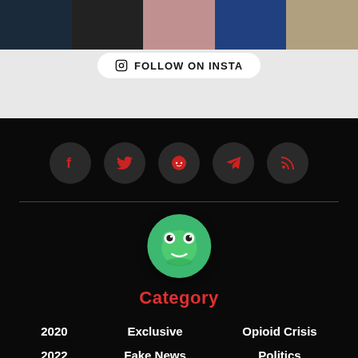[Figure (photo): Photo strip of five people at top of page]
FOLLOW ON INSTA
[Figure (logo): Social media icons: Facebook, Twitter, Reddit, Telegram, RSS feed in dark circles]
[Figure (logo): Frog mascot logo in green circle]
Category
2020
Exclusive
Opioid Crisis
2022
Fake News
Politics